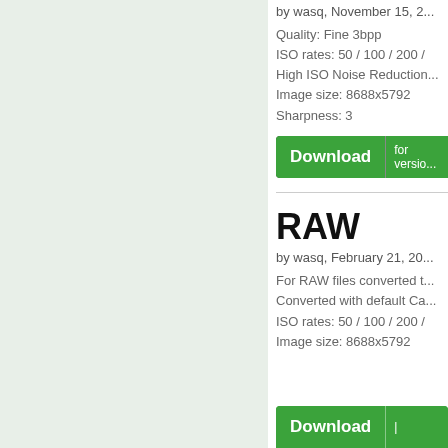[Figure (photo): Left panel with light green/grey background, likely showing a camera test image (cropped out of view)]
by wasq, November 15, 2...
Quality: Fine 3bpp
ISO rates: 50 / 100 / 200 /...
High ISO Noise Reduction...
Image size: 8688x5792
Sharpness: 3
Download | for versio...
RAW
by wasq, February 21, 20...
For RAW files converted t...
Converted with default Ca...
ISO rates: 50 / 100 / 200 /...
Image size: 8688x5792
Download |